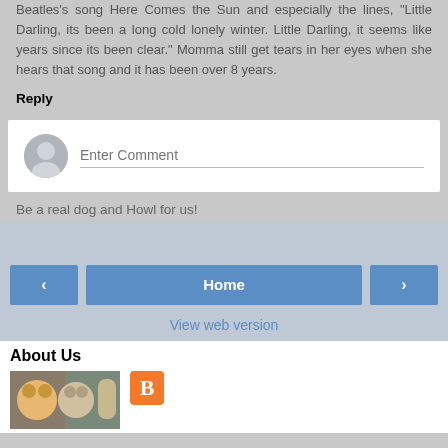Beatles's song Here Comes the Sun and especially the lines, "Little Darling, its been a long cold lonely winter. Little Darling, it seems like years since its been clear." Momma still get tears in her eyes when she hears that song and it has been over 8 years.
Reply
[Figure (screenshot): Comment input box with avatar circle on left and 'Enter Comment' placeholder text with underline]
Be a real dog and Howl for us!
[Figure (screenshot): Navigation buttons: left arrow, Home, right arrow on blue-grey background]
View web version
About Us
[Figure (photo): Three husky dog photos collage thumbnail, and orange Blogger icon button]